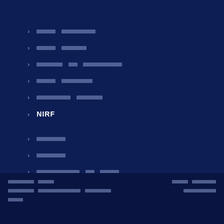████ █████████
████ ██████
██████ ██ ██████████
████ ███████
███████ ██████
NIRF
███████
███████
███████████ ██ █████
█-███████████ ███████ ██ ████████ ██████
████████ ██████
███████ █████   ████ ██████   ███████ ████████████ ███████   ████████